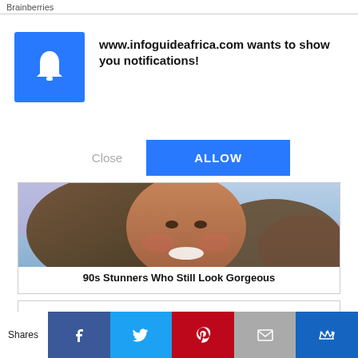Brainberries
[Figure (other): Browser notification permission dialog with blue bell icon on left and bold text on right]
www.infoguideafrica.com wants to show you notifications!
Close
ALLOW
[Figure (photo): Photo of a smiling woman with curly hair from the 90s]
90s Stunners Who Still Look Gorgeous
Shares
[Figure (other): Social share bar with Facebook, Twitter, Pinterest, Email, and Crown icons]